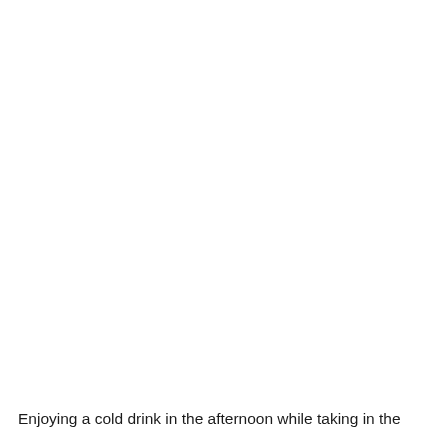Enjoying a cold drink in the afternoon while taking in the